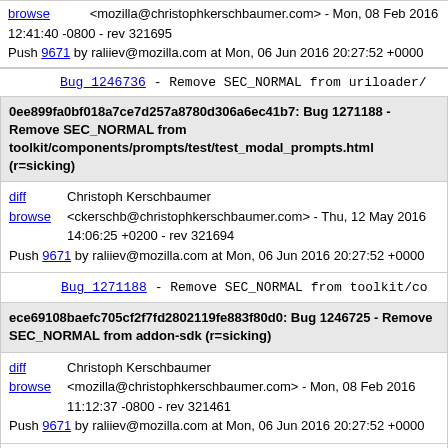browse   <mozilla@christophkerschbaumer.com> - Mon, 08 Feb 2016 12:41:40 -0800 - rev 321695
Push 9671 by raliiev@mozilla.com at Mon, 06 Jun 2016 20:27:52 +0000
Bug_1246736 - Remove SEC_NORMAL from uriloader/
0ee899fa0bf018a7ce7d257a8780d306a6ec41b7: Bug 1271188 - Remove SEC_NORMAL from toolkit/components/prompts/test/test_modal_prompts.html (r=sicking)
diff
browse   Christoph Kerschbaumer <ckerschb@christophkerschbaumer.com> - Thu, 12 May 2016 14:06:25 +0200 - rev 321694
Push 9671 by raliiev@mozilla.com at Mon, 06 Jun 2016 20:27:52 +0000
Bug_1271188 - Remove SEC_NORMAL from toolkit/co
ece69108baefc705cf2f7fd2802119fe883f80d0: Bug 1246725 - Remove SEC_NORMAL from addon-sdk (r=sicking)
diff
browse   Christoph Kerschbaumer <mozilla@christophkerschbaumer.com> - Mon, 08 Feb 2016 11:12:37 -0800 - rev 321461
Push 9671 by raliiev@mozilla.com at Mon, 06 Jun 2016 20:27:52 +0000
Bug_1246725 - Remove SEC_NORMAL from addon-sdk
96d28a77926955f1c986703223d49d7bfe4b3ed4: Bug 1246725 - Remove SEC_NORMAL from addon-sdk (r=sicking)